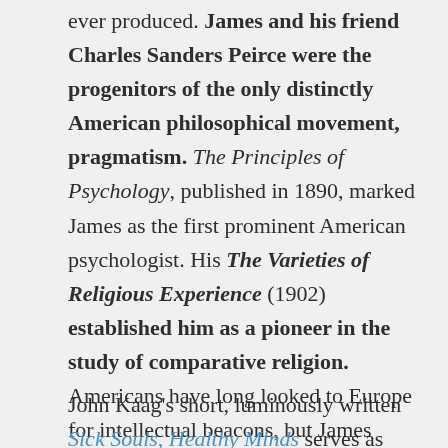ever produced. James and his friend Charles Sanders Peirce were the progenitors of the only distinctly American philosophical movement, pragmatism. The Principles of Psychology, published in 1890, marked James as the first prominent American psychologist. His The Varieties of Religious Experience (1902) established him as a pioneer in the study of comparative religion. Americans have long looked to Europe for intellectual beacons, but James deserves our attention.
John Kaag's short, luminously written Sick Souls, Healthy Minds serves as both a biography and an